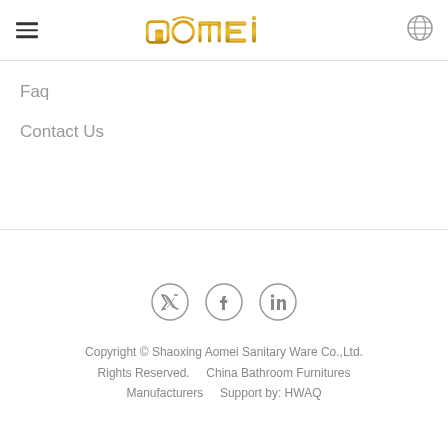[Figure (logo): Aomei logo in gold stylized text with hamburger menu icon on left and globe icon on right]
Faq
Contact Us
[Figure (other): Social media icons: Twitter, Facebook, LinkedIn - circular outlined icons]
Copyright © Shaoxing Aomei Sanitary Ware Co.,Ltd. Rights Reserved.    China Bathroom Furnitures Manufacturers    Support by: HWAQ